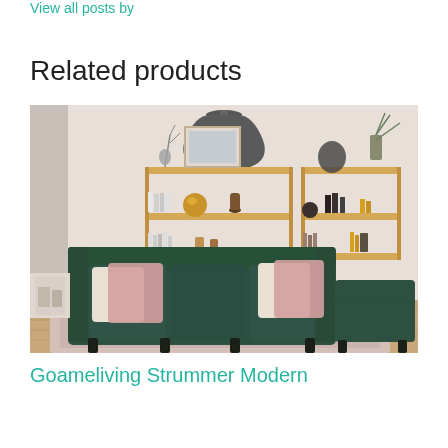View all posts by
Related products
[Figure (photo): A dark green L-shaped sectional sofa with pink and cream throw pillows, set in a living room with wooden wall shelves holding books, vases, and decorative objects, a dark pendant lamp overhead, and a patterned rug on a wood floor.]
Goameliving Strummer Modern